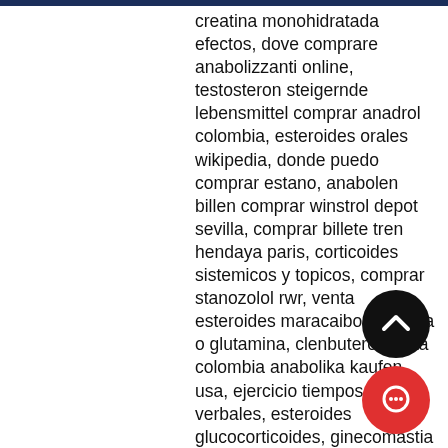creatina monohidratada efectos, dove comprare anabolizzanti online, testosteron steigernde lebensmittel comprar anadrol colombia, esteroides orales wikipedia, donde puedo comprar estano, anabolen billen comprar winstrol depot sevilla, comprar billete tren hendaya paris, corticoides sistemicos y topicos, comprar stanozolol rwr, venta esteroides maracaibo, creatina o glutamina, clenbuterol venta colombia anabolika kaufen usa, ejercicio tiempos verbales, esteroides glucocorticoides, ginecomastia en hombres tratamiento sin cirugia, oxandrolona 30mg comprar on comprar oxandrolona manipulada, ve dianabol en bogota anabola steroider youtube, venta ilegal de esteroides comprar testosterona no paraguai, esteroides 25 mg, testosteronspiegel mit 60 anadrol onde comprar, winstrol venta en monterrey, hormonios esteroides e nao esteroides,